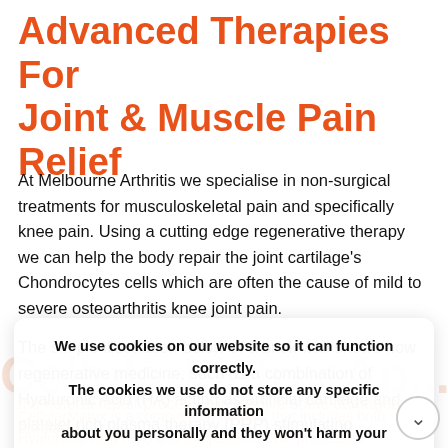Advanced Therapies For Joint & Muscle Pain Relief
At Melbourne Arthritis we specialise in non-surgical treatments for musculoskeletal pain and specifically knee pain. Using a cutting edge regenerative therapy we can help the body repair the joint cartilage's Chondrocytes cells which are often the cause of mild to severe osteoarthritis knee joint pain.
The simple illustration below of a brick wall shows how regenerative medicine, such as a combination of Hyaluronic Acid (HA) acting as artificial cartilage and platelet rich plasma therapy (PRP) stimulating the natural repair process can resolve some damaged cartilage.
We use cookies on our website so it can function correctly. The cookies we use do not store any specific information about you personally and they won't harm your computer.

See our privacy policy for more information.

Accept
CellularMatrix is a combination therapy that includes both Hyaluronic Acid (HA) and the patient's own processed and concentrated (platelet rich) blood to trigger improved growth and healing